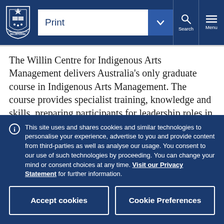[Figure (logo): University of Melbourne crest/shield logo in white on dark navy background]
Print | Search | Menu
The Willin Centre for Indigenous Arts Management delivers Australia's only graduate course in Indigenous Arts Management. The course provides specialist training, knowledge and skills, preparing participants for leadership roles in the Indigenous
This site uses and shares cookies and similar technologies to personalise your experience, advertise to you and provide content from third-parties as well as analyse our usage. You consent to our use of such technologies by proceeding. You can change your mind or consent choices at any time. Visit our Privacy Statement for further information.
Accept cookies
Cookie Preferences